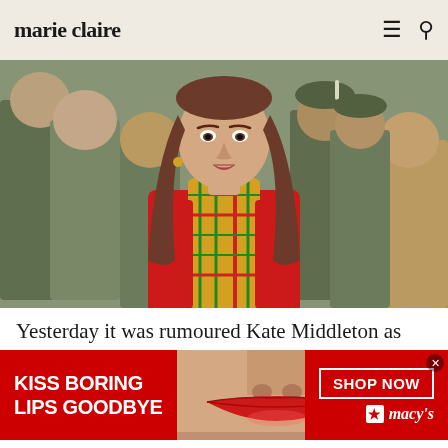marie claire
[Figure (photo): Kate Middleton wearing a red coat and tartan scarf, surrounded by people in military camouflage uniforms and Scottish military caps at an outdoor event.]
Yesterday it was rumoured Kate Middleton as
[Figure (infographic): Macy's advertisement banner with red background. Left side text reads 'KISS BORING LIPS GOODBYE' in bold white uppercase text. Center shows a close-up of a woman's face with red lipstick. Right side shows 'SHOP NOW' button and Macy's star logo.]